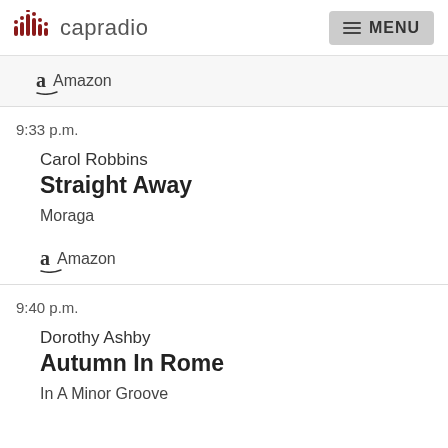capradio MENU
Amazon
9:33 p.m.
Carol Robbins
Straight Away
Moraga
Amazon
9:40 p.m.
Dorothy Ashby
Autumn In Rome
In A Minor Groove